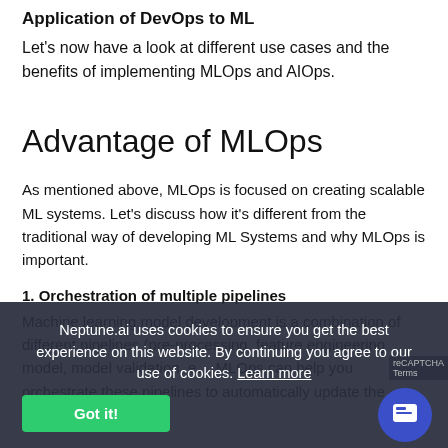Application of DevOps to ML
Let's now have a look at different use cases and the benefits of implementing MLOps and AIOps.
Advantage of MLOps
As mentioned above, MLOps is focused on creating scalable ML systems. Let's discuss how it's different from the traditional way of developing ML Systems and why MLOps is important.
1. Orchestration of multiple pipelines
Machine learning model development is a combination of different pipelines (pre-processing, feature engineering model, model validation, e... MLOps can help you orchestrate these pipelines to automatically update the model